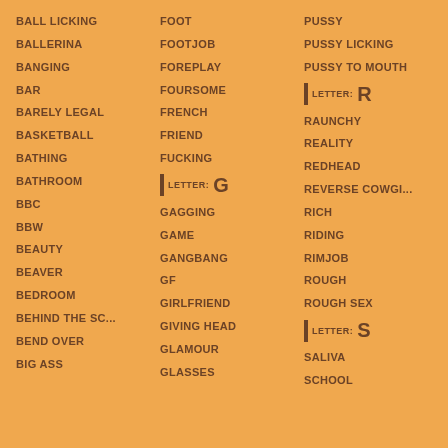BALL LICKING
FOOT
PUSSY
BALLERINA
FOOTJOB
PUSSY LICKING
BANGING
FOREPLAY
PUSSY TO MOUTH
BAR
FOURSOME
LETTER: R
BARELY LEGAL
FRENCH
RAUNCHY
BASKETBALL
FRIEND
REALITY
BATHING
FUCKING
REDHEAD
BATHROOM
LETTER: G
REVERSE COWGI...
BBC
GAGGING
RICH
BBW
GAME
RIDING
BEAUTY
GANGBANG
RIMJOB
BEAVER
GF
ROUGH
BEDROOM
GIRLFRIEND
ROUGH SEX
BEHIND THE SC...
GIVING HEAD
LETTER: S
BEND OVER
GLAMOUR
SALIVA
BIG ASS
GLASSES
SCHOOL